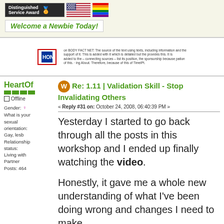[Figure (logo): Distinguished Service Award badge, US flag, rainbow flag]
Welcome a Newbie Today!
[Figure (logo): HON (Health on the Net) accreditation badge with small text]
Re: 1.11 | Validation Skill - Stop Invalidating Others
« Reply #31 on: October 24, 2008, 06:40:39 PM »
Yesterday I started to go back through all the posts in this workshop and I ended up finally watching the video.
Honestly, it gave me a whole new understanding of what I've been doing wrong and changes I need to make.